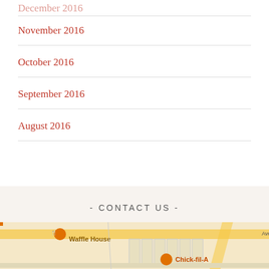November 2016
October 2016
September 2016
August 2016
- CONTACT US -
[Figure (map): Google Maps embed showing local area with Waffle House, Chick-fil-A, McDonald's markers]